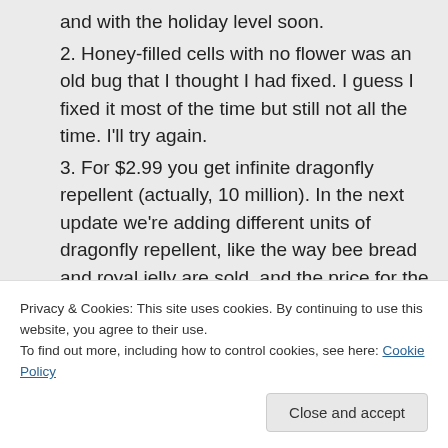and with the holiday level soon.
2. Honey-filled cells with no flower was an old bug that I thought I had fixed. I guess I fixed it most of the time but still not all the time. I'll try again.
3. For $2.99 you get infinite dragonfly repellent (actually, 10 million). In the next update we're adding different units of dragonfly repellent, like the way bee bread and royal jelly are sold, and the price for the infinite supply will go up.
Privacy & Cookies: This site uses cookies. By continuing to use this website, you agree to their use.
To find out more, including how to control cookies, see here: Cookie Policy